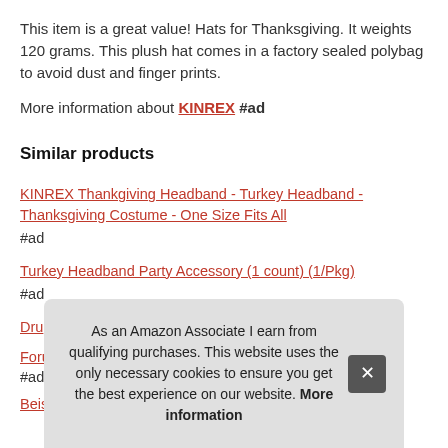This item is a great value! Hats for Thanksgiving. It weights 120 grams. This plush hat comes in a factory sealed polybag to avoid dust and finger prints.
More information about KINREX #ad
Similar products
KINREX Thankgiving Headband - Turkey Headband - Thanksgiving Costume - One Size Fits All #ad
Turkey Headband Party Accessory (1 count) (1/Pkg) #ad
Dru...
Foru... #ad
Beis...
As an Amazon Associate I earn from qualifying purchases. This website uses the only necessary cookies to ensure you get the best experience on our website. More information